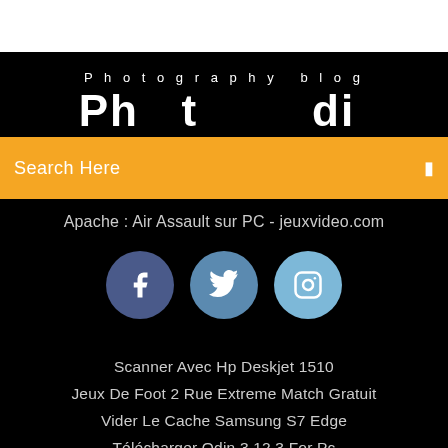Photography blog
Ph...di...
Search Here
Apache : Air Assault sur PC - jeuxvideo.com
[Figure (infographic): Three social media icons: Facebook (dark blue circle with f), Twitter (medium blue circle with bird), Instagram (light blue circle with camera)]
Scanner Avec Hp Deskjet 1510
Jeux De Foot 2 Rue Extreme Match Gratuit
Vider Le Cache Samsung S7 Edge
Télécharger Odin 3.12 3 For Pc